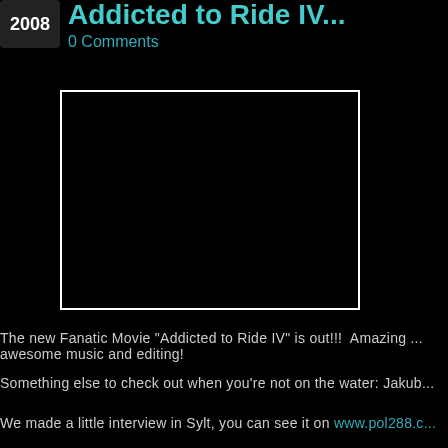2008
Addicted to Ride IV...
0 Comments
[Figure (other): Embedded video player showing black screen for Fanatic Movie 'Addicted to Ride IV']
The new Fanatic Movie "Addicted to Ride IV" is out!!!  Amazing ... awesome music and editing!
Something else to check out when you're not on the water: Jakub...
We made a little interview in Sylt, you can see it on www.pol288.c...